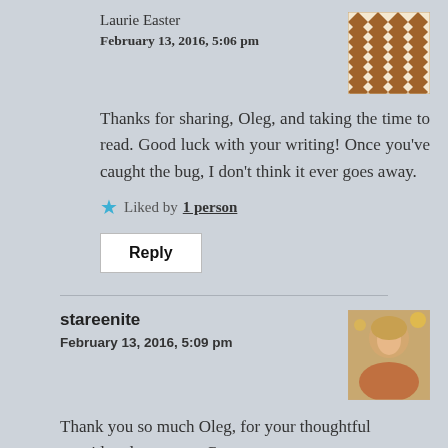Laurie Easter
February 13, 2016, 5:06 pm
Thanks for sharing, Oleg, and taking the time to read. Good luck with your writing! Once you've caught the bug, I don't think it ever goes away.
Liked by 1 person
Reply
stareenite
February 13, 2016, 5:09 pm
Thank you so much Oleg, for your thoughtful considered response. Congrats on your recent publication. And on catching the writing bug. It is a